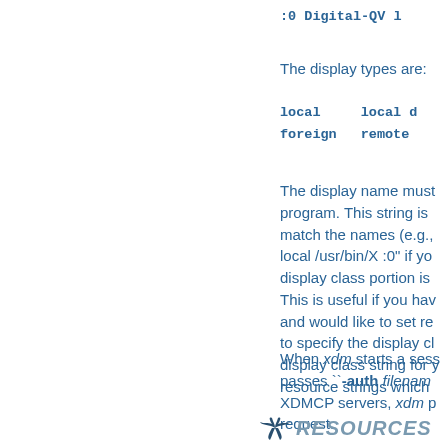:0 Digital-QV l
The display types are:
| local | local d |
| foreign | remote |
The display name must match the names (e.g., program. This string is used to match the names (e.g., local /usr/bin/X :0" if you display class portion is This is useful if you have and would like to set re to specify the display cl display class string for y resource strings which
When xdm starts a sess passes ``-auth filename XDMCP servers, xdm p request.
RESOURCES